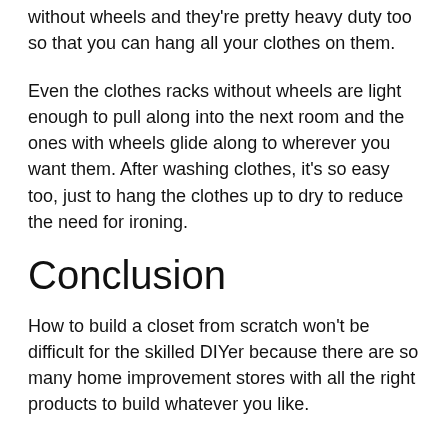without wheels and they're pretty heavy duty too so that you can hang all your clothes on them.
Even the clothes racks without wheels are light enough to pull along into the next room and the ones with wheels glide along to wherever you want them. After washing clothes, it's so easy too, just to hang the clothes up to dry to reduce the need for ironing.
Conclusion
How to build a closet from scratch won't be difficult for the skilled DIYer because there are so many home improvement stores with all the right products to build whatever you like.